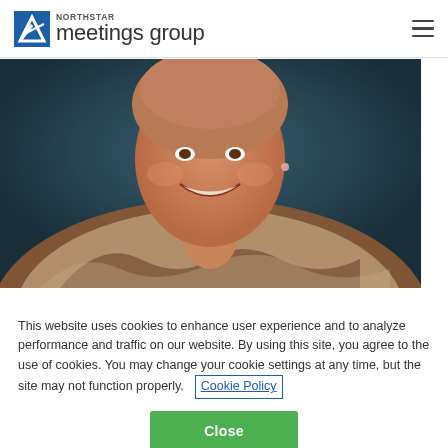NORTHSTAR meetings group
[Figure (photo): Headshot photo of a smiling woman wearing a brown and white patterned jacket, dark background]
This website uses cookies to enhance user experience and to analyze performance and traffic on our website. By using this site, you agree to the use of cookies. You may change your cookie settings at any time, but the site may not function properly.  Cookie Policy
Close